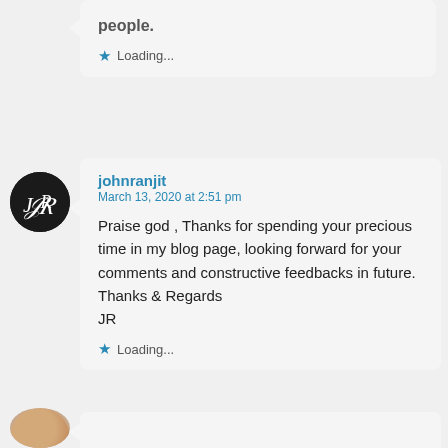people.
Loading...
johnranjit
March 13, 2020 at 2:51 pm
Praise god , Thanks for spending your precious time in my blog page, looking forward for your comments and constructive feedbacks in future. Thanks & Regards
JR
Loading...